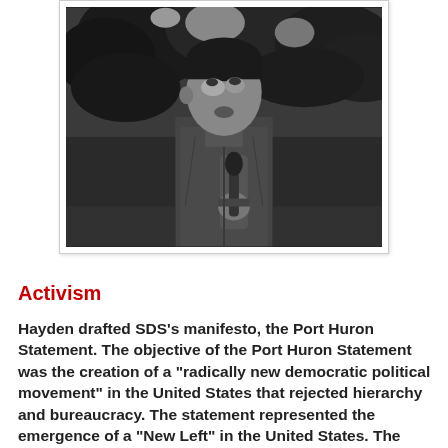[Figure (photo): Black and white photograph of a young man speaking outdoors, holding a microphone, with trees in the background.]
Activism
Hayden drafted SDS's manifesto, the Port Huron Statement. The objective of the Port Huron Statement was the creation of a "radically new democratic political movement" in the United States that rejected hierarchy and bureaucracy. The statement represented the emergence of a "New Left" in the United States. The New Left often worked with, but was no longer part of, the remains of the American Left after concerted government efforts to destroy it. At its annual convention, the old Students for a democratic